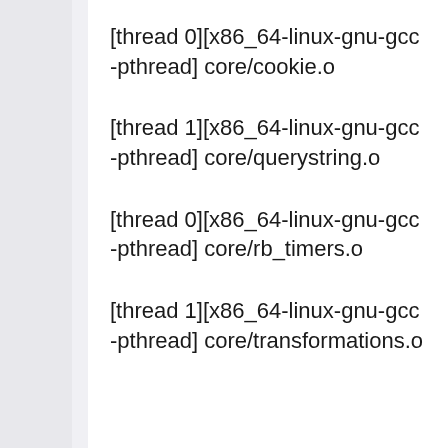[thread 0][x86_64-linux-gnu-gcc -pthread] core/cookie.o
[thread 1][x86_64-linux-gnu-gcc -pthread] core/querystring.o
[thread 0][x86_64-linux-gnu-gcc -pthread] core/rb_timers.o
[thread 1][x86_64-linux-gnu-gcc -pthread] core/transformations.o